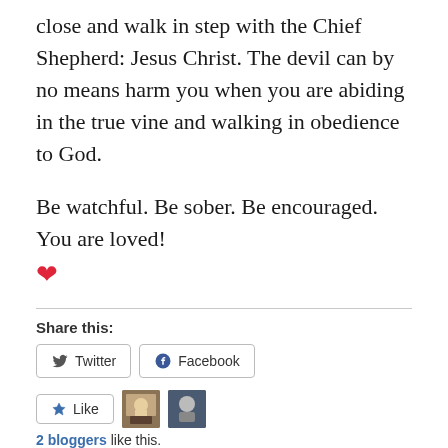close and walk in step with the Chief Shepherd: Jesus Christ. The devil can by no means harm you when you are abiding in the true vine and walking in obedience to God.
Be watchful. Be sober. Be encouraged. You are loved! ❤
Share this:
[Figure (other): Twitter and Facebook share buttons]
[Figure (other): Like button with 2 blogger avatars]
2 bloggers like this.
Related
Do you want to destroy sin in... Anxiety, defeated!